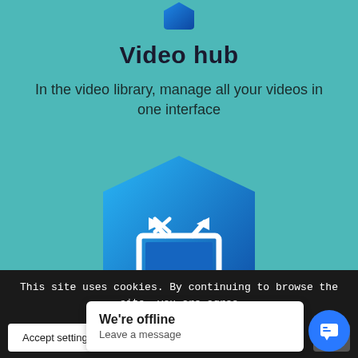[Figure (screenshot): Partial view of a rounded hexagon/shield icon at the top, blue gradient color]
Video hub
In the video library, manage all your videos in one interface
[Figure (illustration): Blue gradient shield/hexagon shape with a white TV/monitor icon in the center]
This site uses cookies. By continuing to browse the site, you are agree
We're offline
Leave a message
Accept settings
[Figure (illustration): Blue circular chat button with speech bubble icon]